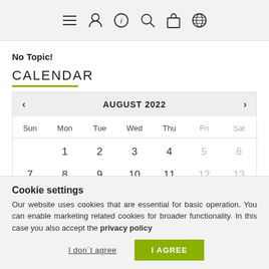Navigation bar with icons: menu, user, info, search, bag, globe
No Topic!
CALENDAR
[Figure (other): August 2022 calendar widget showing days Sun–Sat. Week 1: 1(Mon), 2(Tue), 3(Wed), 4(Thu), 5(Fri), 6(Sat). Week 2: 7(Sun), 8(Mon), 9(Tue), 10(Wed), 11(Thu), 12(Fri), 13(Sat). Navigation arrows < and >.]
Cookie settings
Our website uses cookies that are essential for basic operation. You can enable marketing related cookies for broader functionality. In this case you also accept the privacy policy